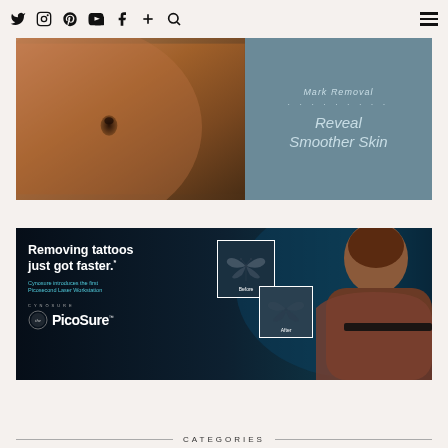Social media icons: Twitter, Instagram, Pinterest, YouTube, Facebook, Plus, Search; Hamburger menu
[Figure (photo): Banner image showing close-up of skin/torso on left with teal/blue background on right containing text 'Mark Removal' with dots and 'Reveal Smoother Skin' in light blue italic font]
[Figure (photo): Dark background advertisement banner for PicoSure tattoo removal laser by Cynosure. Text: 'Removing tattoos just got faster.' and 'Cynosure introduces the first Picosecond Laser Workstation'. Shows before/after frames of butterfly tattoo on person's back. PicoSure logo visible.]
CATEGORIES